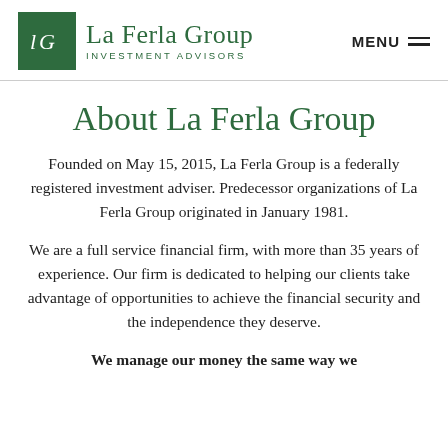La Ferla Group Investment Advisors | MENU
About La Ferla Group
Founded on May 15, 2015, La Ferla Group is a federally registered investment adviser. Predecessor organizations of La Ferla Group originated in January 1981.
We are a full service financial firm, with more than 35 years of experience. Our firm is dedicated to helping our clients take advantage of opportunities to achieve the financial security and the independence they deserve.
We manage our money the same way we